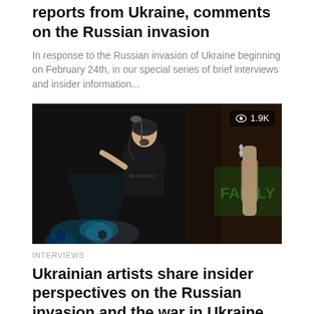reports from Ukraine, comments on the Russian invasion
In response to the Russian invasion of Ukraine beginning on February 24th, in our special series of brief interviews and insider information...
[Figure (photo): Concert photo showing a male singer performing at a microphone on a dark stage with stage lighting and another musician with a guitar visible in the background. A green banner with partial text 'FAMILY' is visible.]
INTERVIEWS
Ukrainian artists share insider perspectives on the Russian invasion and the war in Ukraine
As Russian invasion of Ukraine intensifies, with Kyiv now under siege, the European Union announces new measures designed to bolster Ukraine in...